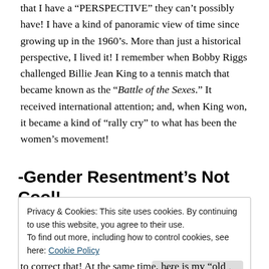that I have a “PERSPECTIVE” they can’t possibly have! I have a kind of panoramic view of time since growing up in the 1960’s. More than just a historical perspective, I lived it! I remember when Bobby Riggs challenged Billie Jean King to a tennis match that became known as the “Battle of the Sexes.” It received international attention; and, when King won, it became a kind of “rally cry” to what has been the women’s movement!
-Gender Resentment’s Not Cool!
Privacy & Cookies: This site uses cookies. By continuing to use this website, you agree to their use.
To find out more, including how to control cookies, see here: Cookie Policy
to correct that! At the same time, here is my “old man”